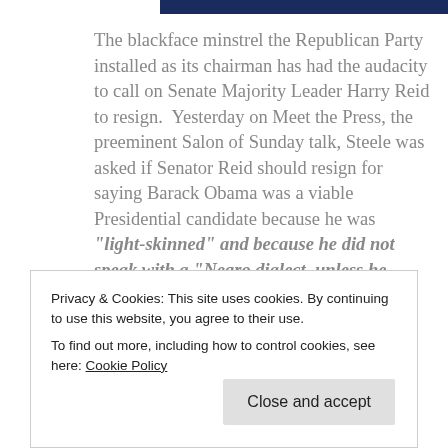The blackface minstrel the Republican Party installed as its chairman has had the audacity to call on Senate Majority Leader Harry Reid to resign.  Yesterday on Meet the Press, the preeminent Salon of Sunday talk, Steele was asked if Senator Reid should resign for saying Barack Obama was a viable Presidential candidate because he was "light-skinned" and because he did not speak with a "Negro dialect, unless he wanted to have one."
Privacy & Cookies: This site uses cookies. By continuing to use this website, you agree to their use.
To find out more, including how to control cookies, see here: Cookie Policy